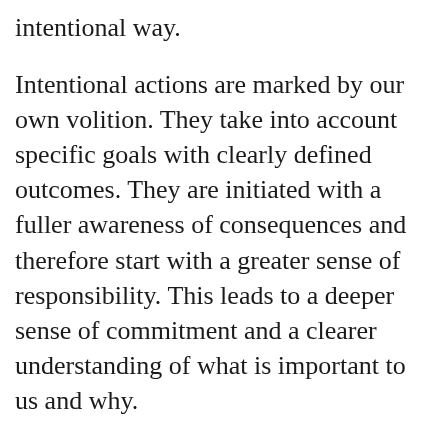intentional way.
Intentional actions are marked by our own volition. They take into account specific goals with clearly defined outcomes. They are initiated with a fuller awareness of consequences and therefore start with a greater sense of responsibility. This leads to a deeper sense of commitment and a clearer understanding of what is important to us and why.
That is Bruce Lee’s reference to “emotional content”.
###
To better understand how to take control of your